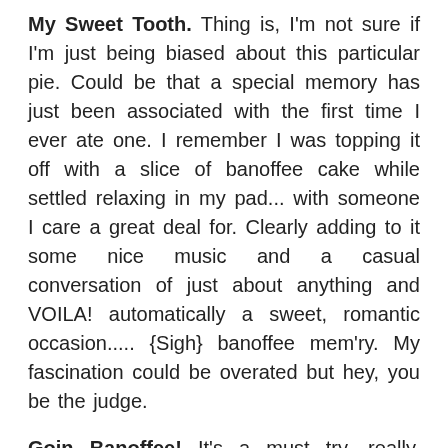My Sweet Tooth. Thing is, I'm not sure if I'm just being biased about this particular pie. Could be that a special memory has just been associated with the first time I ever ate one. I remember I was topping it off with a slice of banoffee cake while settled relaxing in my pad... with someone I care a great deal for. Clearly adding to it some nice music and a casual conversation of just about anything and VOILA! automatically a sweet, romantic occasion..... {Sigh} banoffee mem'ry. My fascination could be overated but hey, you be the judge.
Goin Banoffee! It's a must try, really. Below is the recipe, for those who wish to try to impress someone it's pretty simple to make, or you may opt to just take your significant other and try indulging at it at BANAPPLE Branches in Katipunan or Il Terrazzo Tomas Morato, Quezon City.